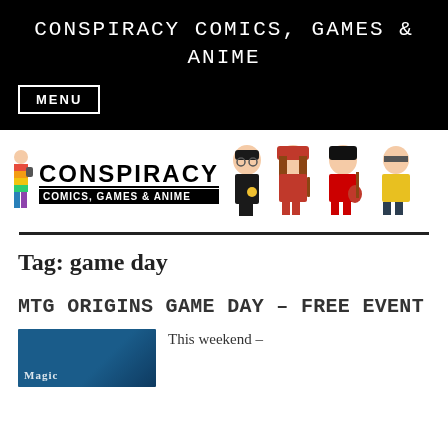CONSPIRACY COMICS, GAMES & ANIME
MENU
[Figure (logo): Conspiracy Comics, Games & Anime logo with rainbow figure and Funko Pop characters (Harry Potter, Hermione, and others)]
Tag: game day
MTG ORIGINS GAME DAY – FREE EVENT
This weekend –